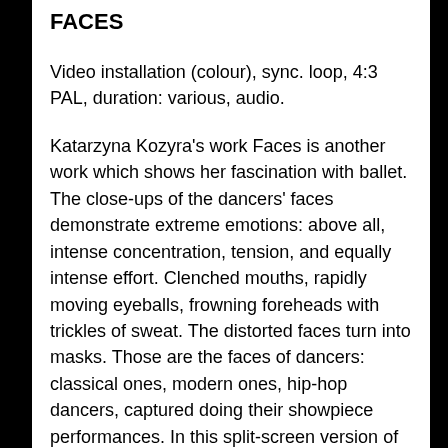FACES
Video installation (colour), sync. loop, 4:3 PAL, duration: various, audio.
Katarzyna Kozyra's work Faces is another work which shows her fascination with ballet. The close-ups of the dancers' faces demonstrate extreme emotions: above all, intense concentration, tension, and equally intense effort. Clenched mouths, rapidly moving eyeballs, frowning foreheads with trickles of sweat. The distorted faces turn into masks. Those are the faces of dancers: classical ones, modern ones, hip-hop dancers, captured doing their showpiece performances. In this split-screen version of the work, the dancers' faces are synched with the coresponding movement of their bodies, with which they express themselves, which are their instruments. And yet the faces, which during performances are virtually invisible to viewers, here steal the limelight and become the central point of attention. Just as in The Rite of Spring it is dance itself that is being deconstructed,